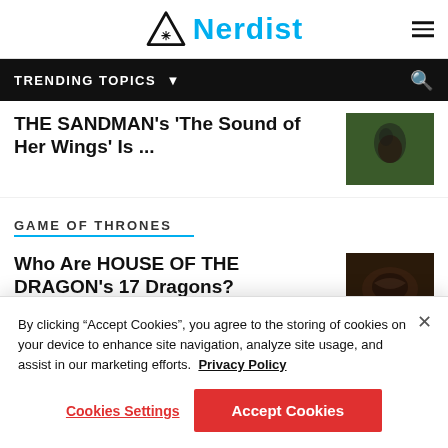Nerdist
TRENDING TOPICS
THE SANDMAN's 'The Sound of Her Wings' Is ...
GAME OF THRONES
Who Are HOUSE OF THE DRAGON's 17 Dragons?
By clicking "Accept Cookies", you agree to the storing of cookies on your device to enhance site navigation, analyze site usage, and assist in our marketing efforts. Privacy Policy